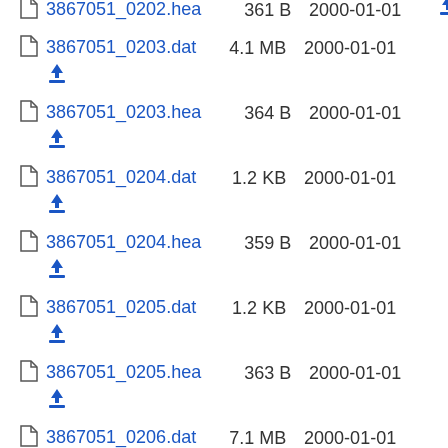3867051_0202.hea  361 B  2000-01-01
3867051_0203.dat  4.1 MB  2000-01-01
3867051_0203.hea  364 B  2000-01-01
3867051_0204.dat  1.2 KB  2000-01-01
3867051_0204.hea  359 B  2000-01-01
3867051_0205.dat  1.2 KB  2000-01-01
3867051_0205.hea  363 B  2000-01-01
3867051_0206.dat  7.1 MB  2000-01-01